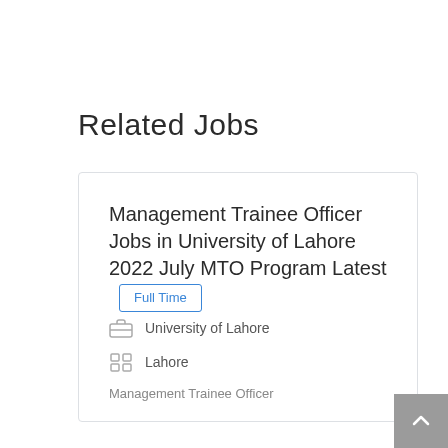Related Jobs
Management Trainee Officer Jobs in University of Lahore 2022 July MTO Program Latest  Full Time
University of Lahore
Lahore
Management Trainee Officer